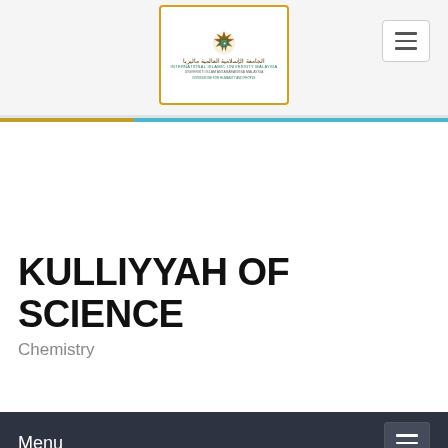[Figure (logo): International Islamic University Malaysia logo with Arabic and English text, gold border box, ornamental emblem]
KULLIYYAH OF SCIENCE
Chemistry
Menu
Chemistry